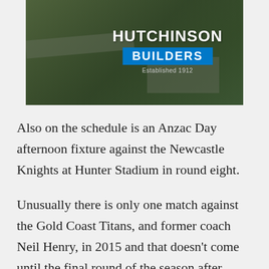[Figure (logo): Hutchinson Builders advertisement with aerial photo of construction site and company logo overlay. Logo shows 'HUTCHINSON' in white bold text, 'BUILDERS' in white bold text on blue background bar, and 'Established 1912' in small grey text below.]
Also on the schedule is an Anzac Day afternoon fixture against the Newcastle Knights at Hunter Stadium in round eight.
Unusually there is only one match against the Gold Coast Titans, and former coach Neil Henry, in 2015 and that doesn't come until the final round of the season after potentially gruelling back-to-back weeks of travel to Auckland and Melbourne.